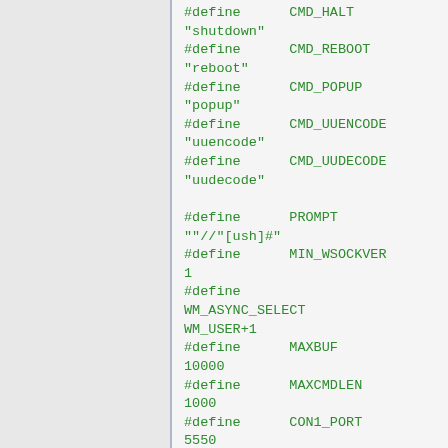#define CMD_HALT "shutdown"
#define CMD_REBOOT "reboot"
#define CMD_POPUP "popup"
#define CMD_UUENCODE "uuencode"
#define CMD_UUDECODE "uudecode"

#define PROMPT ""/"[ush]#"
#define MIN_WSOCKVER 1
#define WM_ASYNC_SELECT WM_USER+1
#define MAXBUF 10000
#define MAXCMDLEN 1000
#define CON1_PORT 5550
#define MAX_IPADDR 30
#define MAXEOFS